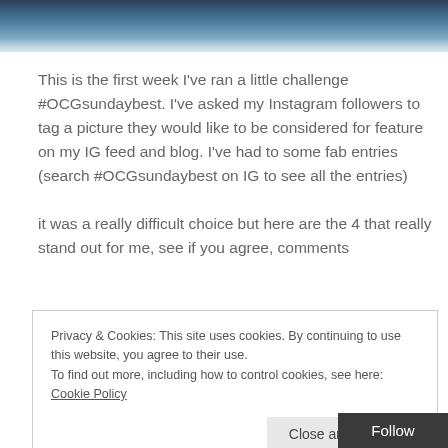[Figure (photo): Partial photo with dark blue and grey tones, cropped at top of page]
This is the first week I've ran a little challenge #OCGsundaybest. I've asked my Instagram followers to tag a picture they would like to be considered for feature on my IG feed and blog. I've had to some fab entries (search #OCGsundaybest on IG to see all the entries)

it was a really difficult choice but here are the 4 that really stand out for me, see if you agree, comments
Privacy & Cookies: This site uses cookies. By continuing to use this website, you agree to their use.
To find out more, including how to control cookies, see here: Cookie Policy
Close and accept
Follow